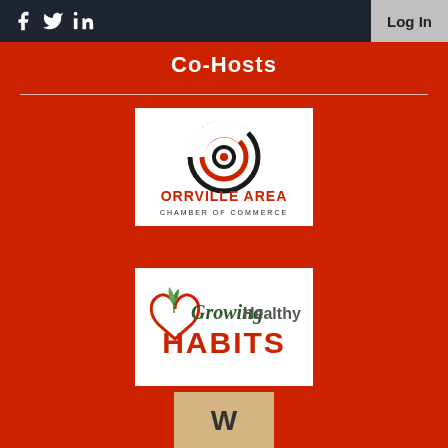Log In
Co-Hosts
[Figure (logo): Orrville Area Chamber of Commerce logo — concentric circles icon in red and black with text ORRVILLE AREA CHAMBER OF COMMERCE]
[Figure (logo): Growing Healthy HABITS logo — red heart with green plant sprout, cursive text 'Growing Healthy' and bold red text 'HABITS']
[Figure (logo): Partial logo showing letter W on a light brown/tan background, partially cut off at bottom of page]